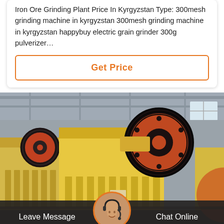Iron Ore Grinding Plant Price In Kyrgyzstan Type: 300mesh grinding machine in kyrgyzstan 300mesh grinding machine in kyrgyzstan happybuy electric grain grinder 300g pulverizer…
Get Price
[Figure (photo): Industrial jaw crushers in a factory setting, painted yellow with large black pulley wheels, multiple units shown in a row inside a steel-framed industrial building.]
Leave Message
Chat Online